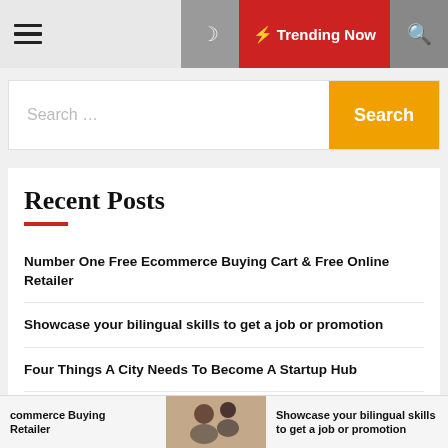☰ [moon] ⚡ Trending Now [search]
Search ...
Recent Posts
Number One Free Ecommerce Buying Cart & Free Online Retailer
Showcase your bilingual skills to get a job or promotion
Four Things A City Needs To Become A Startup Hub
Reading the Warnings Signs for the Next Recession
commerce Buying Retailer  [photo]  Showcase your bilingual skills to get a job or promotion